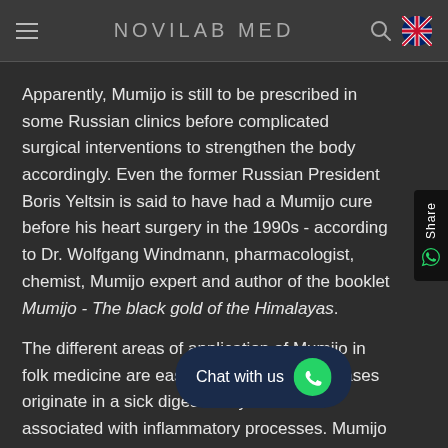NOVILAB MED
Apparently, Mumijo is still to be prescribed in some Russian clinics before complicated surgical interventions to strengthen the body accordingly. Even the former Russian President Boris Yeltsin is said to have had a Mumijo cure before his heart surgery in the 1990s - according to Dr. Wolfgang Windmann, pharmacologist, chemist, Mumijo expert and author of the booklet Mumijo - The black gold of the Himalayas.
The different areas of application of Mumijo in folk medicine are easy to explain. Bec... diseases originate in a sick digestive system and associated with inflammatory processes. Mumijo